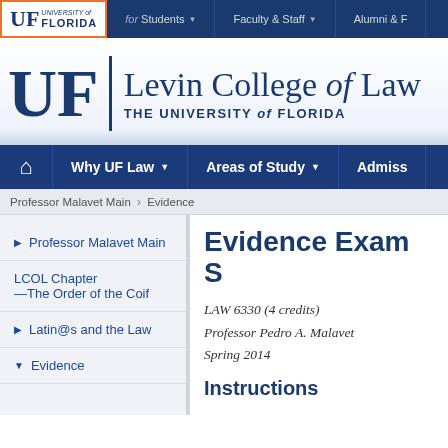[Figure (screenshot): University of Florida top navigation bar with UF logo, for Students, Faculty & Staff, Alumni & F links]
[Figure (logo): UF Levin College of Law header logo with UF monogram, vertical divider, and text 'Levin College of Law / THE UNIVERSITY of FLORIDA']
Why UF Law | Areas of Study | Admiss...
Professor Malavet Main > Evidence
Professor Malavet Main
LCOL Chapter —The Order of the Coif
Latin@s and the Law
Evidence
Evidence Exam S...
LAW 6330 (4 credits)
Professor Pedro A. Malavet
Spring 2014
Instructions